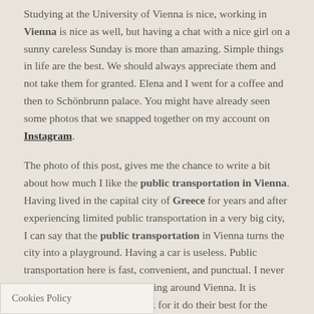Studying at the University of Vienna is nice, working in Vienna is nice as well, but having a chat with a nice girl on a sunny careless Sunday is more than amazing. Simple things in life are the best. We should always appreciate them and not take them for granted. Elena and I went for a coffee and then to Schönbrunn palace. You might have already seen some photos that we snapped together on my account on Instagram.
The photo of this post, gives me the chance to write a bit about how much I like the public transportation in Vienna. Having lived in the capital city of Greece for years and after experiencing limited public transportation in a very big city, I can say that the public transportation in Vienna turns the city into a playground. Having a car is useless. Public transportation here is fast, convenient, and punctual. I never had any kind of difficulty getting around Vienna. It is obvious that people who work for it do their best for the others. I shouldn't forget to mention that the metro runs around the clock on Fridays and Saturdays and on the eve of public holidays, which makes going out at night easier.
Cookies Policy